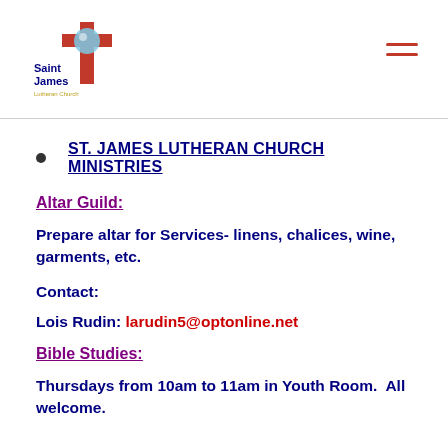[Figure (logo): Saint James Lutheran Church logo with cross and blue circle]
ST. JAMES LUTHERAN CHURCH MINISTRIES
Altar Guild:
Prepare altar for Services- linens, chalices, wine, garments, etc.
Contact:
Lois Rudin: larudin5@optonline.net
Bible Studies:
Thursdays from 10am to 11am in Youth Room.  All welcome.